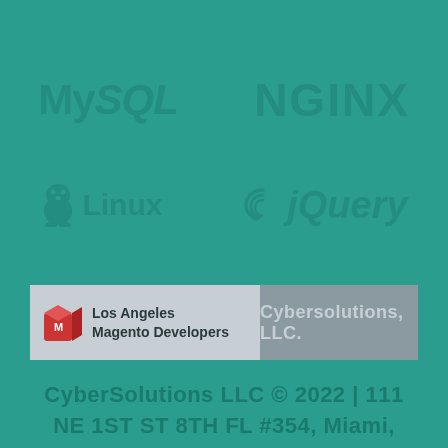[Figure (logo): MySQL logo text in dark teal on teal background]
[Figure (logo): NGINX logo text in dark teal on teal background]
[Figure (logo): Linux penguin logo with text in dark teal on teal background]
[Figure (logo): jQuery logo with swirl icon in dark teal on teal background]
[Figure (logo): Los Angeles Magento Developers / Cybersolutions LLC banner with cube icon]
CyberSolutions LLC © 2022 | 111 NE 1ST ST 8TH FL #354, Miami, FL 33132